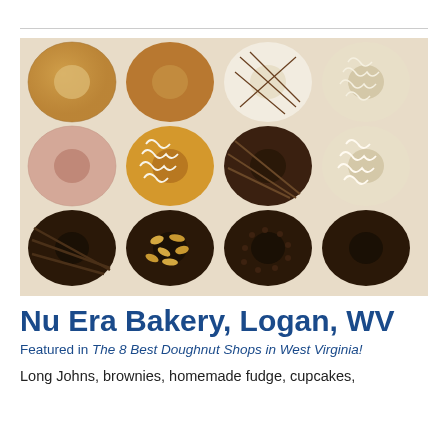[Figure (photo): A box of 12 assorted donuts arranged in a 4x3 grid. Top row: two golden/cinnamon sugar donuts, one white-iced donut with chocolate drizzle pattern, one donut with white chocolate curl topping. Middle row: one pink/glazed ring donut, one donut with white chocolate curls, one dark chocolate glazed donut with chocolate drizzle, one donut with white chocolate curls. Bottom row: four dark chocolate glazed donuts, one with almond topping, one with chocolate pearls.]
Nu Era Bakery, Logan, WV
Featured in The 8 Best Doughnut Shops in West Virginia!
Long Johns, brownies, homemade fudge, cupcakes,